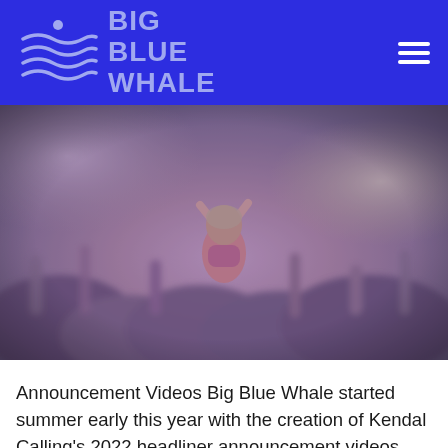BIG BLUE WHALE
[Figure (photo): Concert crowd scene with a person being lifted above the crowd with arms raised, wearing a pink outfit, blurred warm-toned background with stage lights]
Announcement Videos Big Blue Whale started summer early this year with the creation of Kendal Calling's 2022 headliner announcement videos showcasing our editing and animation skills. https://vimeo.com/649472941/5d7b0b9644 Planning